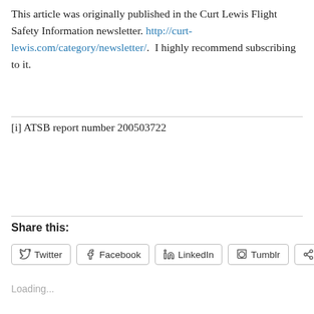This article was originally published in the Curt Lewis Flight Safety Information newsletter. http://curt-lewis.com/category/newsletter/.  I highly recommend subscribing to it.
[i] ATSB report number 200503722
Share this:
Twitter  Facebook  LinkedIn  Tumblr  More
Loading...